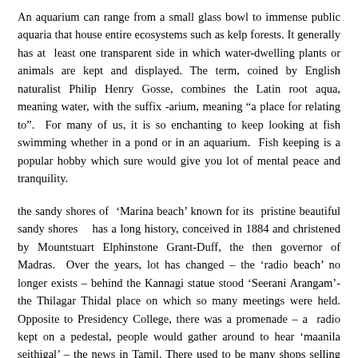An aquarium can range from a small glass bowl to immense public aquaria that house entire ecosystems such as kelp forests. It generally has at least one transparent side in which water-dwelling plants or animals are kept and displayed. The term, coined by English naturalist Philip Henry Gosse, combines the Latin root aqua, meaning water, with the suffix -arium, meaning "a place for relating to". For many of us, it is so enchanting to keep looking at fish swimming whether in a pond or in an aquarium. Fish keeping is a popular hobby which sure would give you lot of mental peace and tranquility.
the sandy shores of ‘Marina beach’ known for its pristine beautiful sandy shores has a long history, conceived in 1884 and christened by Mountstuart Elphinstone Grant-Duff, the then governor of Madras. Over the years, lot has changed – the ‘radio beach’ no longer exists – behind the Kannagi statue stood ‘Seerani Arangam’- the Thilagar Thidal place on which so many meetings were held. Opposite to Presidency College, there was a promenade – a radio kept on a pedestal, people would gather around to hear ‘maanila seithigal’ – the news in Tamil. There used to be many shops selling sea-shells, conches, and more – and of course lot of food ~from cut mangoes, sugarcane juice, murukku, thenga-manga-pattani-sundal